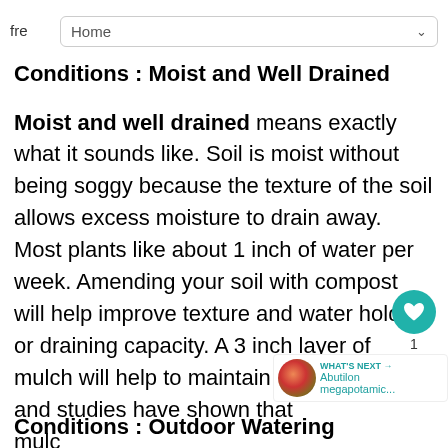fre  Home
Conditions : Moist and Well Drained
Moist and well drained means exactly what it sounds like. Soil is moist without being soggy because the texture of the soil allows excess moisture to drain away. Most plants like about 1 inch of water per week. Amending your soil with compost will help improve texture and water holding or draining capacity. A 3 inch layer of mulch will help to maintain soil moisture and studies have shown that mulched plants grow faster than non-mulched
Conditions : Outdoor Watering